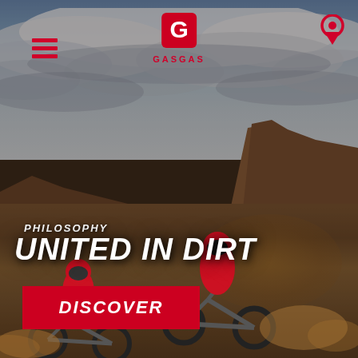[Figure (photo): Full-page action photo of two dirt bike riders in red gear riding through dusty terrain with mesas/buttes in the background under a cloudy sky. GASGAS motorcycles brand photo.]
[Figure (logo): GASGAS brand logo — red stylized 'G' icon above the text 'GASGAS' in red bold letters]
PHILOSOPHY
UNITED IN DIRT
DISCOVER